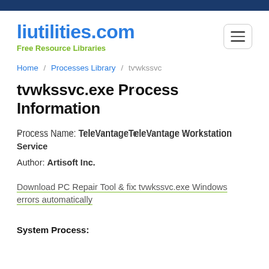liutilities.com / Free Resource Libraries
Home / Processes Library / tvwkssvc
tvwkssvc.exe Process Information
Process Name: TeleVantageTeleVantage Workstation Service
Author: Artisoft Inc.
Download PC Repair Tool & fix tvwkssvc.exe Windows errors automatically
System Process: